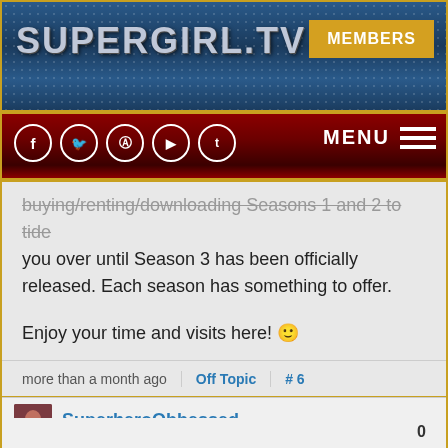[Figure (screenshot): SUPERGIRL.TV website header with blue textured background, logo text, MEMBERS button, dark red navigation bar with social media icons (Facebook, Twitter, Instagram, YouTube, Tumblr), and MENU hamburger icon]
buying/renting/downloading Seasons 1 and 2 to tide you over until Season 3 has been officially released. Each season has something to offer.

Enjoy your time and visits here! 🙂
more than a month ago
Off Topic
# 6
SuperheroObbessed
0